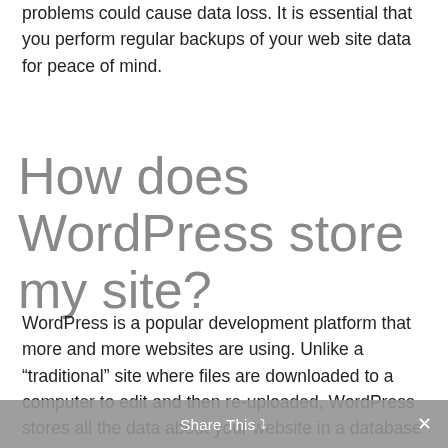problems could cause data loss. It is essential that you perform regular backups of your web site data for peace of mind.
How does WordPress store my site?
WordPress is a popular development platform that more and more websites are using. Unlike a “traditional” site where files are downloaded to a computer to edit and then re-uploaded, WordPress stores all the data about your website in a database on
Share This